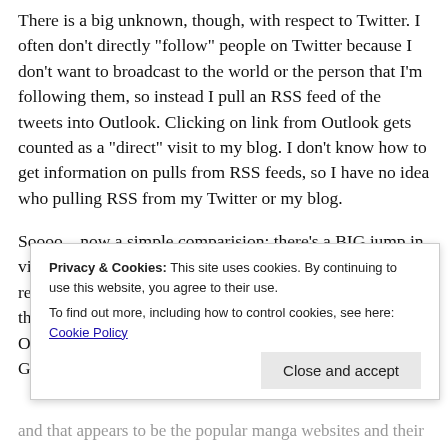There is a big unknown, though, with respect to Twitter. I often don't directly "follow" people on Twitter because I don't want to broadcast to the world or the person that I'm following them, so instead I pull an RSS feed of the tweets into Outlook. Clicking on link from Outlook gets counted as a "direct" visit to my blog.  I don't know how to get information on pulls from RSS feeds, so I have no idea who pulling RSS from my Twitter or my blog.
Soooo....now a simple comparision:  there's a BIG jump in visitors from the popular manga sites on days when I release compared to days in between releases.  On the days that I release, 70 – 80% of traffic comes from those sites.  On the days in between most of the traffic comes from Google s... n... -... n... and that appears to be the popular manga websites and their
Privacy & Cookies: This site uses cookies. By continuing to use this website, you agree to their use.
To find out more, including how to control cookies, see here: Cookie Policy
Close and accept